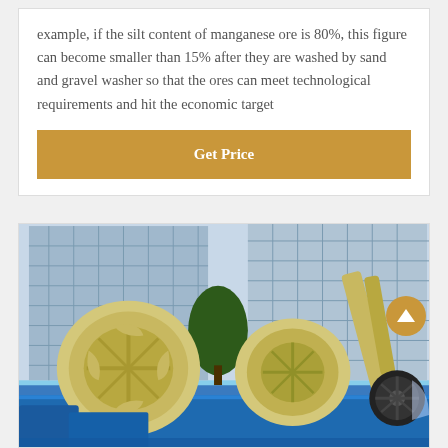example, if the silt content of manganese ore is 80%, this figure can become smaller than 15% after they are washed by sand and gravel washer so that the ores can meet technological requirements and hit the economic target
Get Price
[Figure (photo): Industrial sand and gravel washer machinery with large cream/beige colored rotating drum wheels and blue metal base/trough, photographed outdoors in front of a modern glass office building on a clear day.]